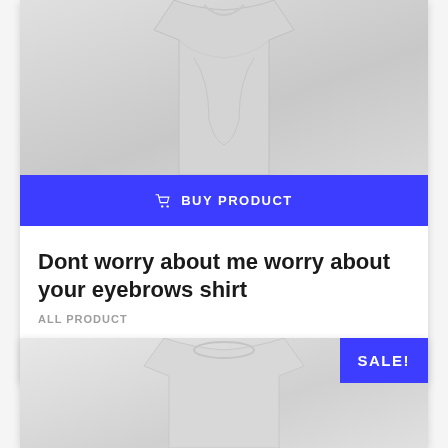[Figure (photo): Product photo of a grey/white t-shirt (top portion shown), partially visible]
BUY PRODUCT
Dont worry about me worry about your eyebrows shirt
ALL PRODUCT
$27.99  $22.99
[Figure (photo): Product photo of a grey/white t-shirt with SALE! badge in blue top-right corner]